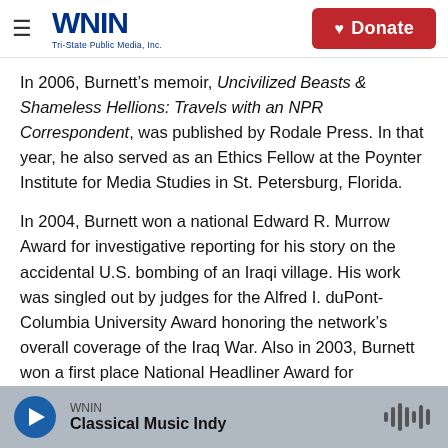WNIN Tri-State Public Media, Inc. | Donate
In 2006, Burnett’s memoir, Uncivilized Beasts & Shameless Hellions: Travels with an NPR Correspondent, was published by Rodale Press. In that year, he also served as an Ethics Fellow at the Poynter Institute for Media Studies in St. Petersburg, Florida.
In 2004, Burnett won a national Edward R. Murrow Award for investigative reporting for his story on the accidental U.S. bombing of an Iraqi village. His work was singled out by judges for the Alfred I. duPont-Columbia University Award honoring the network’s overall coverage of the Iraq War. Also in 2003, Burnett won a first place National Headliner Award for investigative reporting about corruption among federal immigration agents on the U.S.-Mexico border.
WNIN | Classical Music Indy